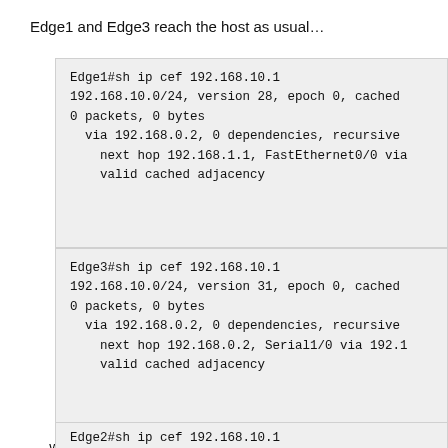Edge1 and Edge3 reach the host as usual…
Edge1#sh ip cef 192.168.10.1
192.168.10.0/24, version 28, epoch 0, cached
0 packets, 0 bytes
  via 192.168.0.2, 0 dependencies, recursive
    next hop 192.168.1.1, FastEthernet0/0 via
    valid cached adjacency
Edge3#sh ip cef 192.168.10.1
192.168.10.0/24, version 31, epoch 0, cached
0 packets, 0 bytes
  via 192.168.0.2, 0 dependencies, recursive
    next hop 192.168.0.2, Serial1/0 via 192.1
    valid cached adjacency
… while Edge2 drops traffic toward it:
Edge2#sh ip cef 192.168.10.1